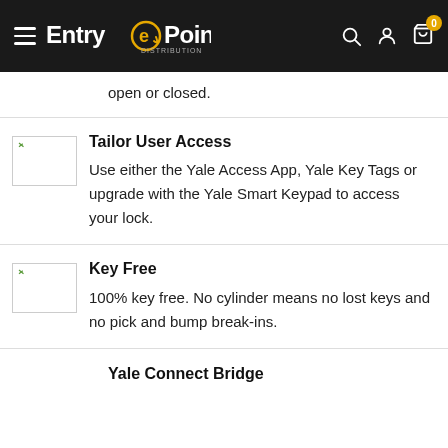EntryPoint Distribution
open or closed.
Tailor User Access
Use either the Yale Access App, Yale Key Tags or upgrade with the Yale Smart Keypad to access your lock.
Key Free
100% key free. No cylinder means no lost keys and no pick and bump break-ins.
Yale Connect Bridge